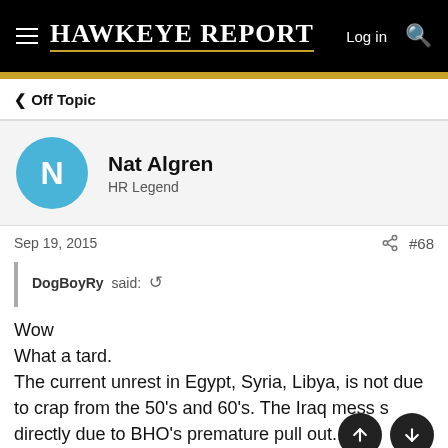Hawkeye Report | Log in | Search
< Off Topic
Nat Algren
HR Legend
Sep 19, 2015  #68
DogBoyRy said: ↩
Wow
What a tard.
The current unrest in Egypt, Syria, Libya, is not due to crap from the 50's and 60's. The Iraq mess s directly due to BHO's premature pull out...